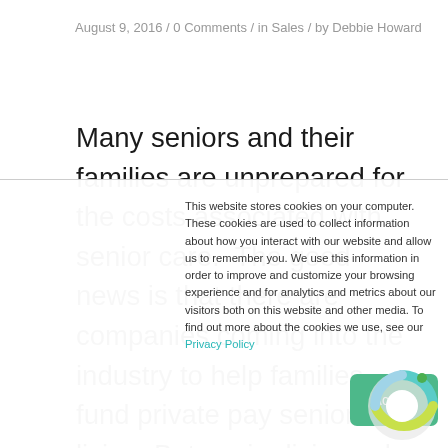August 9, 2016 / 0 Comments / in Sales / by Debbie Howard
Many seniors and their families are unprepared for the costs associated with senior care.  The good news is that there are companies coming into the industry to help families fund private pay senior living. But senior living sales people have to ask the right questions to uncover needs
This website stores cookies on your computer. These cookies are used to collect information about how you interact with our website and allow us to remember you. We use this information in order to improve and customize your browsing experience and for analytics and metrics about our visitors both on this website and other media. To find out more about the cookies we use, see our Privacy Policy